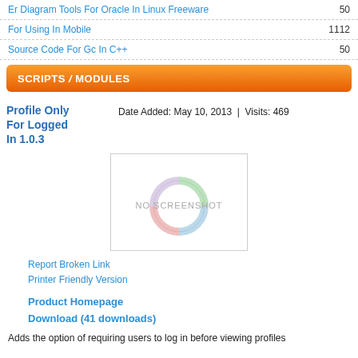Er Diagram Tools For Oracle In Linux Freeware   50
For Using In Mobile   1112
Source Code For Gc In C++   50
SCRIPTS / MODULES
Profile Only For Logged In 1.0.3
Date Added: May 10, 2013  |  Visits: 469
[Figure (illustration): No screenshot placeholder image with a colorful circular logo watermark and text 'NO SCREENSHOT']
Report Broken Link
Printer Friendly Version
Product Homepage
Download (41 downloads)
Adds the option of requiring users to log in before viewing profiles